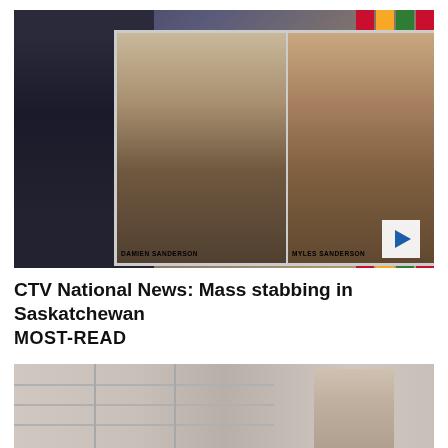[Figure (photo): RCMP press conference showing a wanted poster board with photos of two suspects: Damien Sanderson and Myles Sanderson. An officer in uniform stands to the left at a podium. Canadian flags visible in the background. A play button overlay is visible in the lower right.]
CTV National News: Mass stabbing in Saskatchewan
MOST-READ
[Figure (photo): Partial view of a building exterior with a man (partially visible) standing near the entrance.]